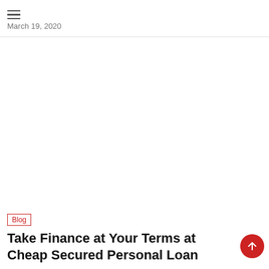≡  March 19, 2020
Blog
Take Finance at Your Terms at Cheap Secured Personal Loan